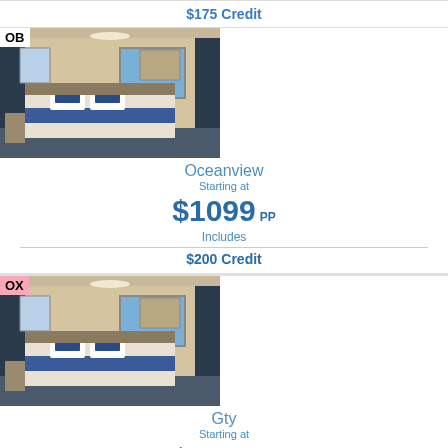$175 Credit
[Figure (photo): Cruise ship oceanview cabin room with double bed, blue pillows, and ocean view window. Badge 'OB' in top left corner.]
Oceanview
Starting at
$1099 PP
Includes
$200 Credit
[Figure (photo): Cruise ship oceanview cabin room with double bed, blue pillows, and ocean view window. Badge 'OX' in top left corner with pink background.]
Gty
Starting at
$1099 PP